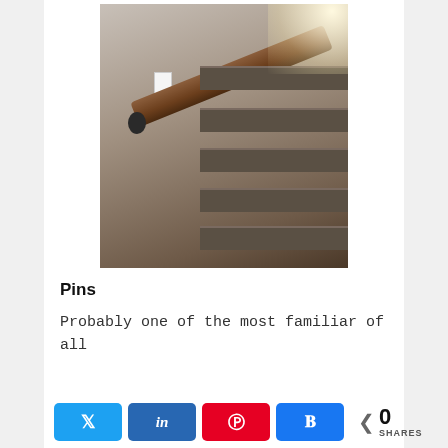[Figure (photo): A wooden handrail mounted on a wall along a staircase with dark carpeted steps. The handrail appears to be a reclaimed wood plank mounted with industrial pipe brackets. A light switch is visible on the grey wall.]
Pins
Probably one of the most familiar of all